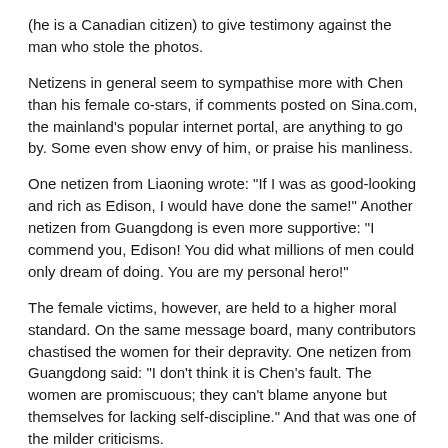(he is a Canadian citizen) to give testimony against the man who stole the photos.
Netizens in general seem to sympathise more with Chen than his female co-stars, if comments posted on Sina.com, the mainland's popular internet portal, are anything to go by. Some even show envy of him, or praise his manliness.
One netizen from Liaoning wrote: "If I was as good-looking and rich as Edison, I would have done the same!" Another netizen from Guangdong is even more supportive: "I commend you, Edison! You did what millions of men could only dream of doing. You are my personal hero!"
The female victims, however, are held to a higher moral standard. On the same message board, many contributors chastised the women for their depravity. One netizen from Guangdong said: "I don't think it is Chen's fault. The women are promiscuous; they can't blame anyone but themselves for lacking self-discipline." And that was one of the milder criticisms.